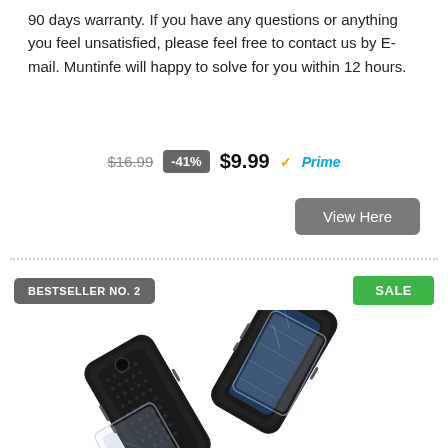90 days warranty. If you have any questions or anything you feel unsatisfied, please feel free to contact us by E-mail. Muntinfe will happy to solve for you within 12 hours.
$16.99  -41%  $9.99  Prime
View Here
BESTSELLER NO. 2
SALE
[Figure (photo): Product photo of two black textured phone cases crossed over each other, with a screen protector glass visible, for a Motorola-style smartphone.]